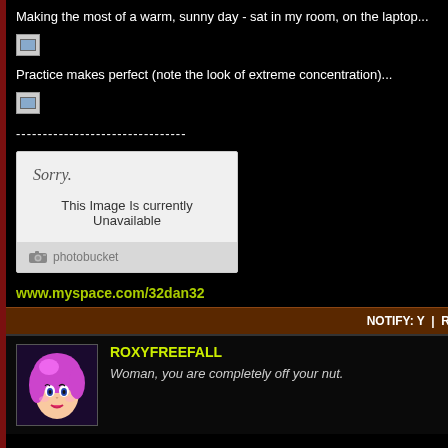Making the most of a warm, sunny day - sat in my room, on the laptop...
[Figure (photo): Broken image placeholder (small thumbnail with torn image icon)]
Practice makes perfect (note the look of extreme concentration)...
[Figure (photo): Broken image placeholder (small thumbnail with torn image icon)]
--------------------------------
[Figure (other): Photobucket 'Sorry. This Image Is currently Unavailable' placeholder box]
www.myspace.com/32dan32
NOTIFY: Y  |  R
ROXYFREEFALL
Woman, you are completely off your nut.